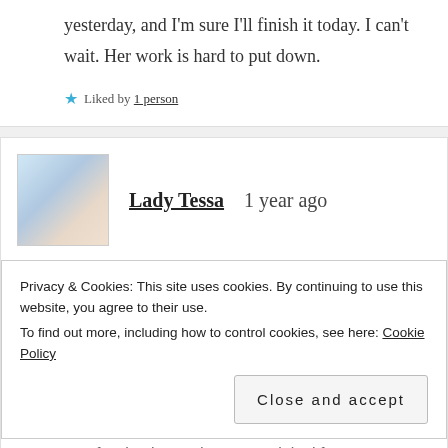yesterday, and I'm sure I'll finish it today. I can't wait. Her work is hard to put down.
★ Liked by 1 person
Lady Tessa   1 year ago
Privacy & Cookies: This site uses cookies. By continuing to use this website, you agree to their use.
To find out more, including how to control cookies, see here: Cookie Policy
Close and accept
fascinating and so very original for a